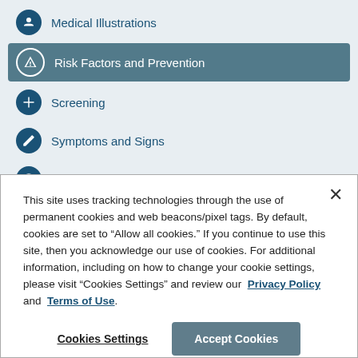Medical Illustrations
Risk Factors and Prevention
Screening
Symptoms and Signs
Diagnosis
Stages
Types of Treatment
This site uses tracking technologies through the use of permanent cookies and web beacons/pixel tags. By default, cookies are set to “Allow all cookies.” If you continue to use this site, then you acknowledge our use of cookies. For additional information, including on how to change your cookie settings, please visit “Cookies Settings” and review our Privacy Policy and Terms of Use.
Cookies Settings
Accept Cookies